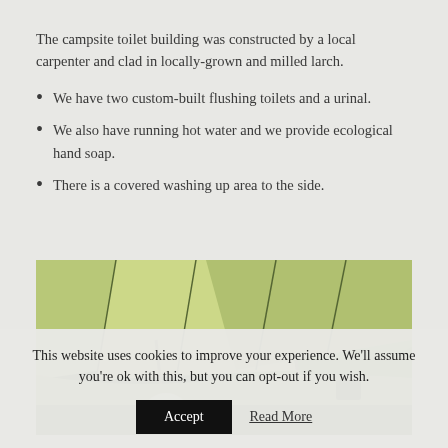The campsite toilet building was constructed by a local carpenter and clad in locally-grown and milled larch.
We have two custom-built flushing toilets and a urinal.
We also have running hot water and we provide ecological hand soap.
There is a covered washing up area to the side.
[Figure (photo): Photograph of a green tent canopy viewed from below, with trees visible in the background.]
This website uses cookies to improve your experience. We'll assume you're ok with this, but you can opt-out if you wish.